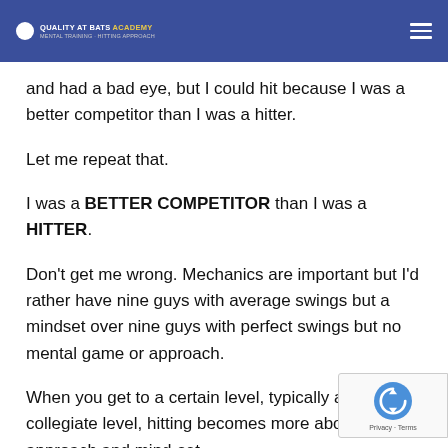Quality At Bats Academy
and had a bad eye, but I could hit because I was a better competitor than I was a hitter.
Let me repeat that.
I was a BETTER COMPETITOR than I was a HITTER.
Don't get me wrong. Mechanics are important but I'd rather have nine guys with average swings but a mindset over nine guys with perfect swings but no mental game or approach.
When you get to a certain level, typically at the collegiate level, hitting becomes more about approach and mind-set.